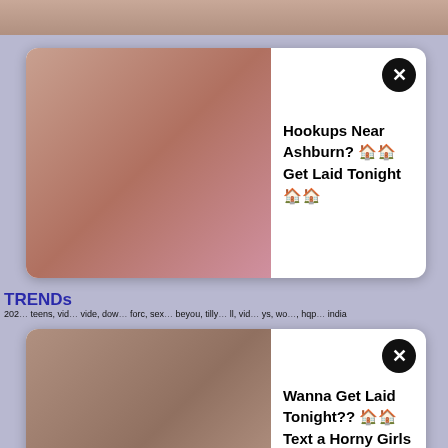[Figure (photo): Adult content image at top of page]
[Figure (photo): Advertisement popup 1 with adult image - Hookups Near Ashburn]
Hookups Near Ashburn? 🏠🏠
Get Laid Tonight🏠🏠
TRENDs
2022... teens, video... video, dow... forc, sex... beyou, tilly... all, vid... ys, wo... , hqp... , onlyfantanj, nobita and shizuka in doraemon cartoon xnxx, indian mom son xxx, son forced his sleeping mom fr sex xhamster, xoxoko, fearlessaura, tattooedtwink69,
[Figure (photo): Advertisement popup 2 with adult image - Wanna Get Laid Tonight]
Wanna Get Laid Tonight?? 🏠🏠
Text a Horny Girls & Fuck for FREE 🏠🏠
Enjoy xTube videos on xtube.asia
Revisit US tomorrow for FRESH porn movies, just press Ctrl + D to BOOKMARK US!
stripchat.global,https://www.pornodrive.me/porno/russkoe-porno/,https://www.pornozavod.cc/categories/,xnnx.work,https://porn3g.info/categor
All models were at least 18 years old when they were photographed. We have a zero-tolerance policy against illegal pornography. All links on this site lead to pages provided by 3rd parties. We take no responsibility for the content on any website which we link to, please use your own discretion while surfing the links. We are produly labeled with the ICRA.
kelly wells squirt, kelly divine naughty america, jadejordanph, hot leather sex, korina kopf nudes, Xn. xVideos, beeg, Xxx, got.sex, xHamster, YouPorn